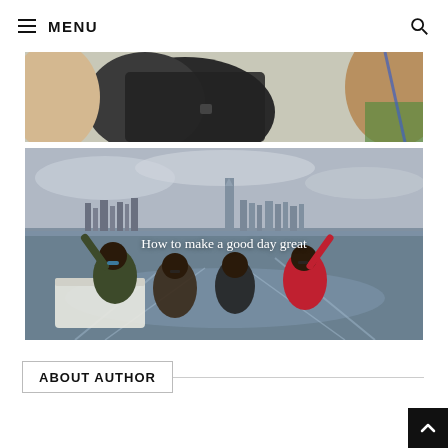MENU
[Figure (photo): Partial view of an animal (possibly camel or horse) with a person in dark clothing visible, close-up shot cropped at top]
[Figure (photo): Four women on a speedboat with arms raised, New York City skyline in the background across the water, overcast sky. Caption text reads 'How to make a good day great']
ABOUT AUTHOR